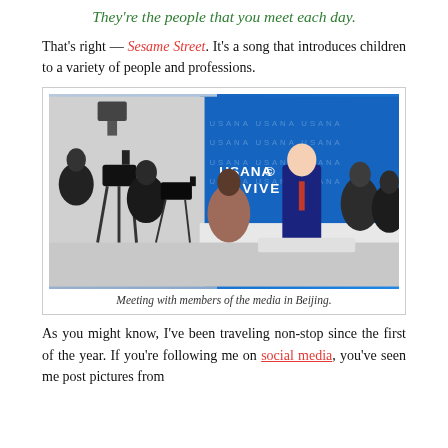They're the people that you meet each day.
That's right — Sesame Street. It's a song that introduces children to a variety of people and professions.
[Figure (photo): A press conference scene showing camera crews filming a man in a suit standing in front of a USANA AVIVE branded blue banner backdrop. Multiple journalists and camera operators are visible.]
Meeting with members of the media in Beijing.
As you might know, I've been traveling non-stop since the first of the year. If you're following me on social media, you've seen me post pictures from